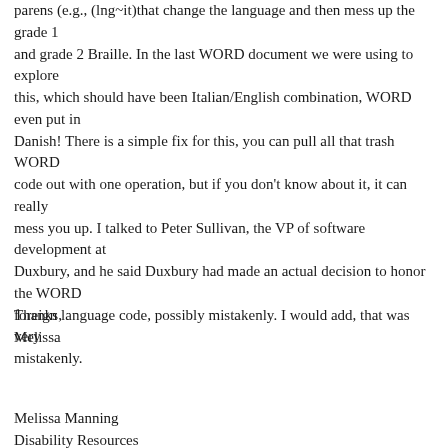parens (e.g., (lng~it)that change the language and then mess up the grade 1 and grade 2 Braille. In the last WORD document we were using to explore this, which should have been Italian/English combination, WORD even put in Danish! There is a simple fix for this, you can pull all that trash WORD code out with one operation, but if you don't know about it, it can really mess you up. I talked to Peter Sullivan, the VP of software development at Duxbury, and he said Duxbury had made an actual decision to honor the WORD foreign language code, possibly mistakenly. I would add, that was very mistakenly.
Thanks,
Melissa
Melissa Manning
Disability Resources